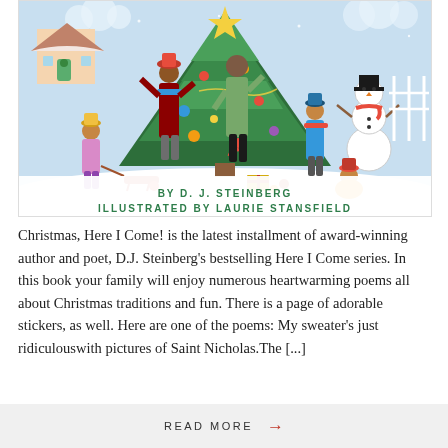[Figure (illustration): Book cover illustration for 'Christmas, Here I Come!' by D.J. Steinberg, illustrated by Laurie Stansfield. Shows a family decorating a large Christmas tree outdoors in the snow. Children and adults in winter clothing, a snowman in the background, and a house with a green door. Text reads: BY D. J. STEINBERG / ILLUSTRATED BY LAURIE STANSFIELD]
Christmas, Here I Come! is the latest installment of award-winning author and poet, D.J. Steinberg's bestselling Here I Come series. In this book your family will enjoy numerous heartwarming poems all about Christmas traditions and fun. There is a page of adorable stickers, as well. Here are one of the poems: My sweater's just ridiculouswith pictures of Saint Nicholas.The [...]
READ MORE →